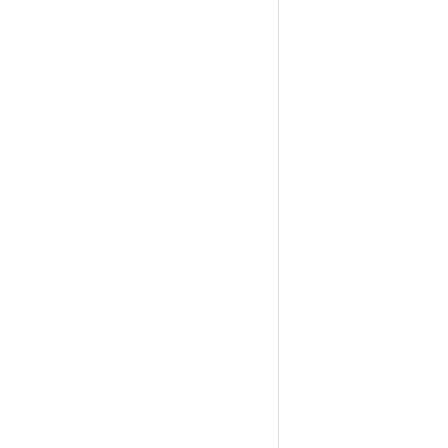Check Availability -
Register
20 September, 2012
Support for VPS Linux H
Related API calls:
VPS Linux Hosting
13 September, 2012
The Domain Search AP
Related API call:
Domains Search